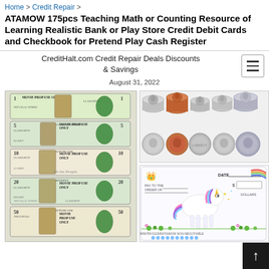Home > Credit Repair >
ATAMOW 175pcs Teaching Math or Counting Resource of Learning Realistic Bank or Play Store Credit Debit Cards and Checkbook for Pretend Play Cash Register
CreditHalt.com Credit Repair Deals Discounts & Savings
August 31, 2022
[Figure (photo): Photo of play money bills (1, 5, 10, 20, 50 dollar denominations) labeled MOVIE PROP USE ONLY with serial number LL 62033872F]
[Figure (photo): Photo of stacked play coins including pennies, nickels, dimes, quarters, and half-dollars in both stacked and flat arrangements]
[Figure (photo): Photo of a colorful play checkbook with a unicorn design, date field, pay to the order of field, dollar amount field, and non-negotiable text at bottom]